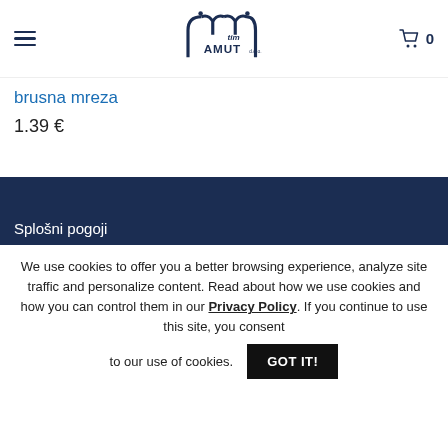Tim Amut d.o.o. — navigation header with logo and cart (0 items)
brusna mreza
1.39 €
Splošni pogoji
We use cookies to offer you a better browsing experience, analyze site traffic and personalize content. Read about how we use cookies and how you can control them in our Privacy Policy. If you continue to use this site, you consent to our use of cookies. GOT IT!